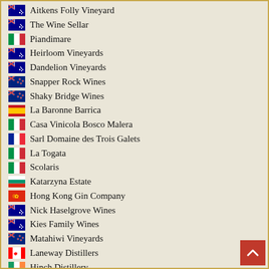Aitkens Folly Vineyard
The Wine Sellar
Piandimare
Heirloom Vineyards
Dandelion Vineyards
Snapper Rock Wines
Shaky Bridge Wines
La Baronne Barrica
Casa Vinicola Bosco Malera
Sarl Domaine des Trois Galets
La Togata
Scolaris
Katarzyna Estate
Hong Kong Gin Company
Nick Haselgrove Wines
Kies Family Wines
Matahiwi Vineyards
Laneway Distillers
Hinch Distillery
Suvla Wines